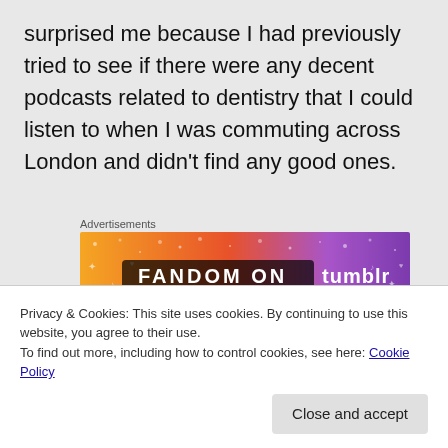surprised me because I had previously tried to see if there were any decent podcasts related to dentistry that I could listen to when I was commuting across London and didn't find any good ones.
Advertisements
[Figure (illustration): Fandom on Tumblr advertisement banner with orange-to-purple gradient background and decorative icons]
So I've now listened to probably around 20 episodes and I usually listen to them when I'm
Privacy & Cookies: This site uses cookies. By continuing to use this website, you agree to their use.
To find out more, including how to control cookies, see here: Cookie Policy
Close and accept